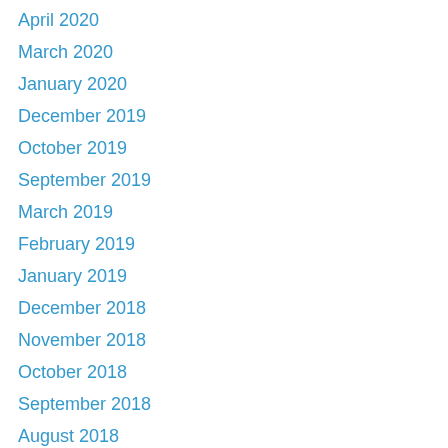April 2020
March 2020
January 2020
December 2019
October 2019
September 2019
March 2019
February 2019
January 2019
December 2018
November 2018
October 2018
September 2018
August 2018
July 2018
June 2018
May 2018
April 2018
March 2018
February 2018